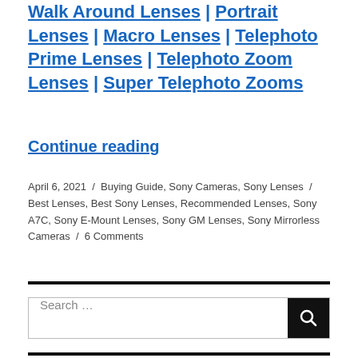Walk Around Lenses | Portrait Lenses | Macro Lenses | Telephoto Prime Lenses | Telephoto Zoom Lenses | Super Telephoto Zooms
Continue reading
April 6, 2021 / Buying Guide, Sony Cameras, Sony Lenses / Best Lenses, Best Sony Lenses, Recommended Lenses, Sony A7C, Sony E-Mount Lenses, Sony GM Lenses, Sony Mirrorless Cameras / 6 Comments
[Figure (other): Horizontal black divider line]
[Figure (other): Search input box with search button icon]
[Figure (other): Horizontal black divider line]